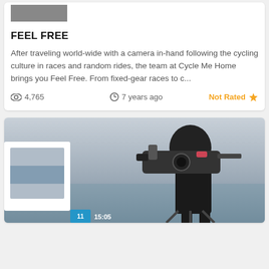[Figure (photo): Thumbnail image at top of card, partially visible]
FEEL FREE
After traveling world-wide with a camera in-hand following the cycling culture in races and random rides, the team at Cycle Me Home brings you Feel Free. From fixed-gear races to c...
4,765   7 years ago   Not Rated ★
[Figure (photo): Cameraman with large film camera rig on a rocky outdoor location, overlaid with smaller images and a timecode 15:05]